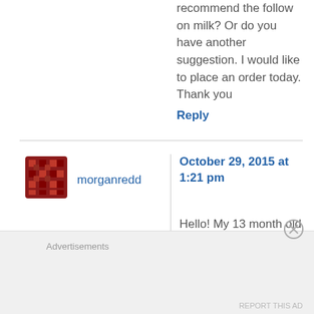recommend the follow on milk? Or do you have another suggestion. I would like to place an order today. Thank you
Reply
morganredd
October 29, 2015 at 1:21 pm
Hello! My 13 month old will not drink cows milk and only wants to nurse but being that she is a little nugget I wanted to try a supplement while
Advertisements